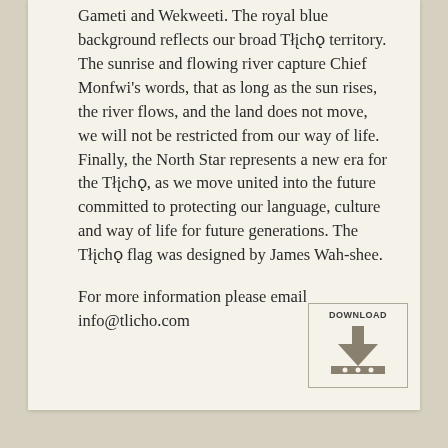Gameti and Wekweeti. The royal blue background reflects our broad Tłįchǫ territory. The sunrise and flowing river capture Chief Monfwi's words, that as long as the sun rises, the river flows, and the land does not move, we will not be restricted from our way of life. Finally, the North Star represents a new era for the Tłįchǫ, as we move united into the future committed to protecting our language, culture and way of life for future generations. The Tłįchǫ flag was designed by James Wah-shee.
For more information please email info@tlicho.com
[Figure (other): Download button icon with downward arrow and dots, labeled DOWNLOAD]